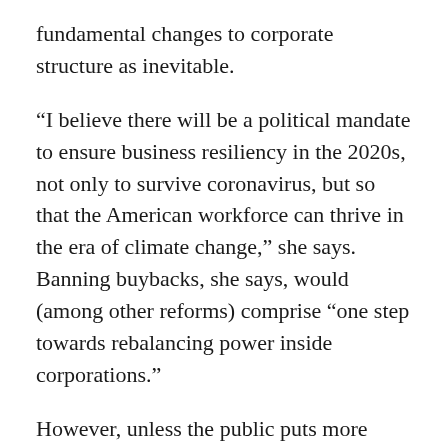fundamental changes to corporate structure as inevitable.
“I believe there will be a political mandate to ensure business resiliency in the 2020s, not only to survive coronavirus, but so that the American workforce can thrive in the era of climate change,” she says. Banning buybacks, she says, would (among other reforms) comprise “one step towards rebalancing power inside corporations.”
However, unless the public puts more pressure on politicians to keep the issue alive during the coronavirus crisis, the $2 trillion rescue and the near-daily barrage of radical new bailout facilities being introduced – the Fed as of this writing is introducing yet another amazing “bazooka” program to hoover up